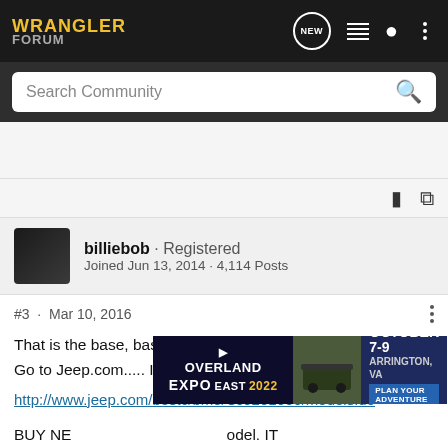WRANGLER FORUM
Search Community
billiebob · Registered
Joined Jun 13, 2014 · 4,114 Posts
#3 · Mar 10, 2016
That is the base, base, base.... plain jane JK.
Go to Jeep.com..... I bet you can buy new for about $24K.
http://www.jeep.com/bostc/bmo/CJJ201606/models.do
[Figure (screenshot): Overland Expo East 2022 advertisement banner: October 7-9, Arrington, VA. Plan Your Adventure.]
BUY NE... odel. IT